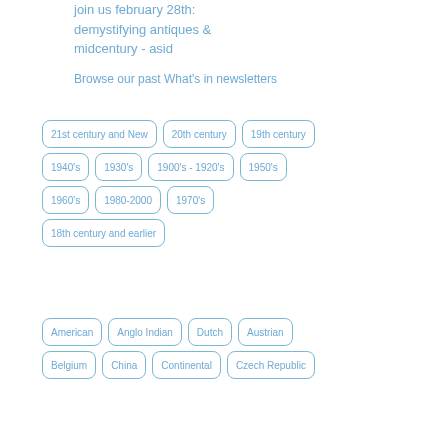join us february 28th: demystifying antiques & midcentury - asid
Browse our past What's in newsletters
21st century and New
20th century
19th century
1940's
1930's
1900's - 1920's
1950's
1960's
1980-2000
1970's
18th century and earlier
American
Anglo Indian
Dutch
Austrian
Belgium
China
Continental
Czech Republic